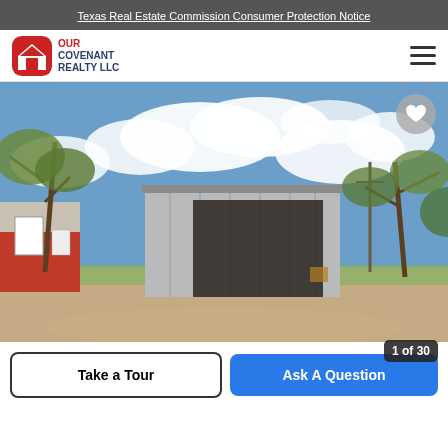Texas Real Estate Commission Consumer Protection Notice
[Figure (logo): Our Covenant Realty LLC logo with red rounded square icon and text]
[Figure (photo): Exterior photo of a rural property showing a large open metal barn/shed structure with sandy driveway, trees, and a red and white outbuilding under a blue sky with clouds]
Take a Tour
Ask A Question
1 of 30